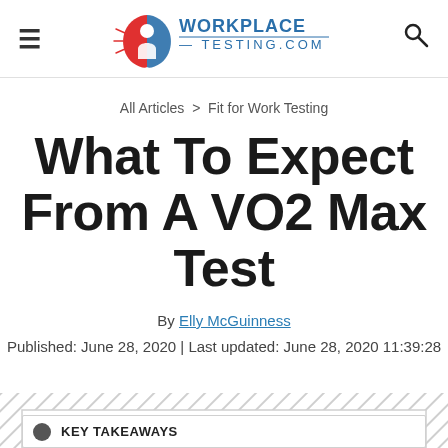WorkplaceTesting.com
All Articles > Fit for Work Testing
What To Expect From A VO2 Max Test
By Elly McGuinness
Published: June 28, 2020 | Last updated: June 28, 2020 11:39:28
KEY TAKEAWAYS